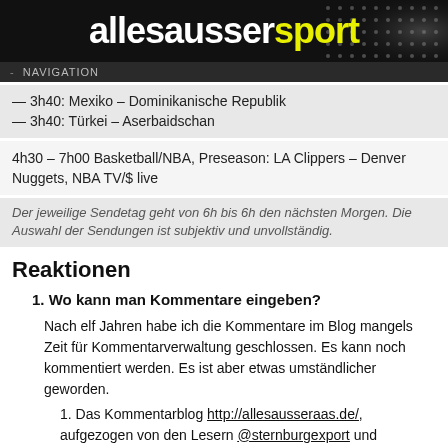allesaussersport
- NAVIGATION
— 3h40: Mexiko – Dominikanische Republik
— 3h40: Türkei – Aserbaidschan
4h30 – 7h00 Basketball/NBA, Preseason: LA Clippers – Denver Nuggets, NBA TV/$ live
Der jeweilige Sendetag geht von 6h bis 6h den nächsten Morgen. Die Auswahl der Sendungen ist subjektiv und unvollständig.
Reaktionen
1. Wo kann man Kommentare eingeben?
Nach elf Jahren habe ich die Kommentare im Blog mangels Zeit für Kommentarverwaltung geschlossen. Es kann noch kommentiert werden. Es ist aber etwas umständlicher geworden.
1. Das Kommentarblog http://allesausseraas.de/, aufgezogen von den Lesern @sternburgexport und